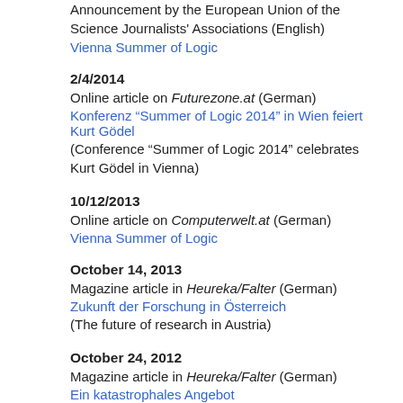Announcement by the European Union of the Science Journalists' Associations (English)
Vienna Summer of Logic
2/4/2014
Online article on Futurezone.at (German)
Konferenz “Summer of Logic 2014” in Wien feiert Kurt Gödel
(Conference “Summer of Logic 2014” celebrates Kurt Gödel in Vienna)
10/12/2013
Online article on Computerwelt.at (German)
Vienna Summer of Logic
October 14, 2013
Magazine article in Heureka/Falter (German)
Zukunft der Forschung in Österreich
(The future of research in Austria)
October 24, 2012
Magazine article in Heureka/Falter (German)
Ein katastrophales Angebot
(A disastrous offer)